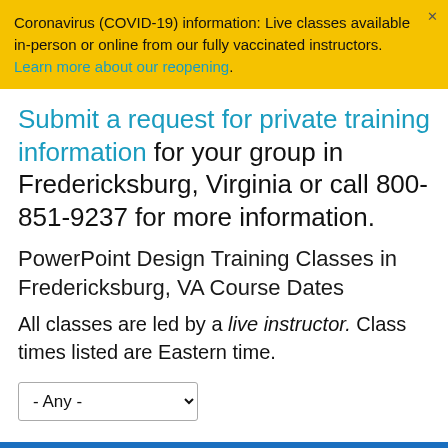Coronavirus (COVID-19) information: Live classes available in-person or online from our fully vaccinated instructors. Learn more about our reopening.
Submit a request for private training information for your group in Fredericksburg, Virginia or call 800-851-9237 for more information.
PowerPoint Design Training Classes in Fredericksburg, VA Course Dates
All classes are led by a live instructor. Class times listed are Eastern time.
- Any -